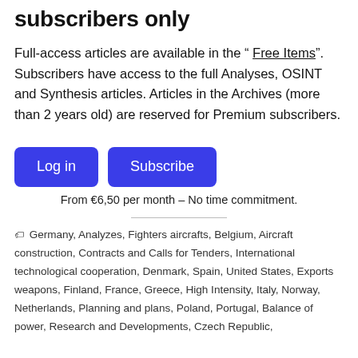subscribers only
Full-access articles are available in the " Free Items". Subscribers have access to the full Analyses, OSINT and Synthesis articles. Articles in the Archives (more than 2 years old) are reserved for Premium subscribers.
Log in   Subscribe
From €6,50 per month – No time commitment.
🏷 Germany, Analyzes, Fighters aircrafts, Belgium, Aircraft construction, Contracts and Calls for Tenders, International technological cooperation, Denmark, Spain, United States, Exports weapons, Finland, France, Greece, High Intensity, Italy, Norway, Netherlands, Planning and plans, Poland, Portugal, Balance of power, Research and Developments, Czech Republic, ...